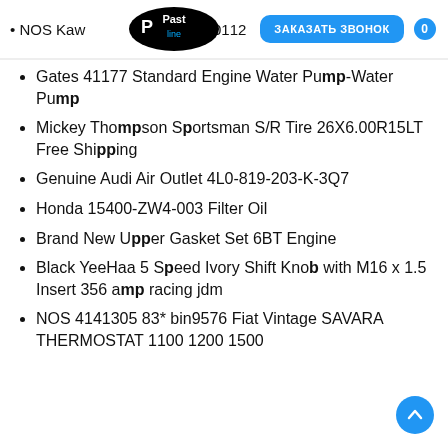NOS Kaw... 55-0112 | ЗАКАЗАТЬ ЗВОНОК | 0
Gates 41177 Standard Engine Water Pump-Water Pump
Mickey Thompson Sportsman S/R Tire 26X6.00R15LT Free Shipping
Genuine Audi Air Outlet 4L0-819-203-K-3Q7
Honda 15400-ZW4-003 Filter Oil
Brand New Upper Gasket Set 6BT Engine
Black YeeHaa 5 Speed Ivory Shift Knob with M16 x 1.5 Insert 356 amp racing jdm
NOS 4141305 83* bin9576 Fiat Vintage SAVARA THERMOSTAT 1100 1200 1500